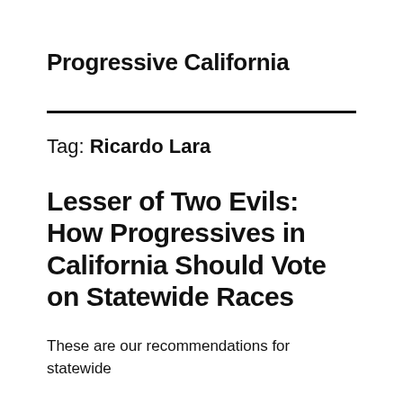Progressive California
Tag: Ricardo Lara
Lesser of Two Evils: How Progressives in California Should Vote on Statewide Races
These are our recommendations for statewide